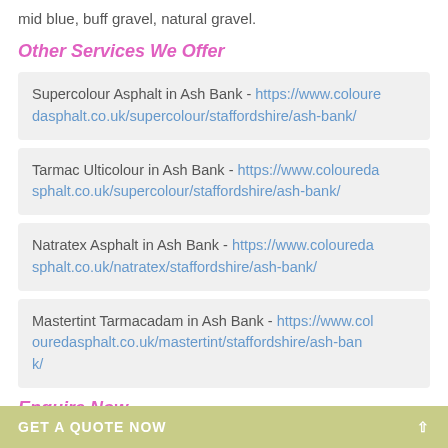mid blue, buff gravel, natural gravel.
Other Services We Offer
Supercolour Asphalt in Ash Bank - https://www.colouredasphalt.co.uk/supercolour/staffordshire/ash-bank/
Tarmac Ulticolour in Ash Bank - https://www.colouredasphalt.co.uk/supercolour/staffordshire/ash-bank/
Natratex Asphalt in Ash Bank - https://www.colouredasphalt.co.uk/natratex/staffordshire/ash-bank/
Mastertint Tarmacadam in Ash Bank - https://www.colouredasphalt.co.uk/mastertint/staffordshire/ash-bank/
Enquire Now
Interested in adding tarmac for the at your property?
GET A QUOTE NOW